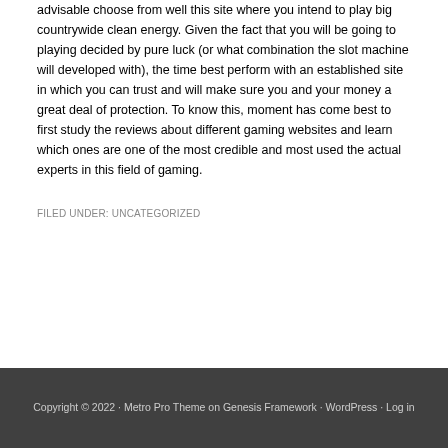advisable choose from well this site where you intend to play big countrywide clean energy. Given the fact that you will be going to playing decided by pure luck (or what combination the slot machine will developed with), the time best perform with an established site in which you can trust and will make sure you and your money a great deal of protection. To know this, moment has come best to first study the reviews about different gaming websites and learn which ones are one of the most credible and most used the actual experts in this field of gaming.
FILED UNDER: UNCATEGORIZED
Copyright © 2022 · Metro Pro Theme on Genesis Framework · WordPress · Log in